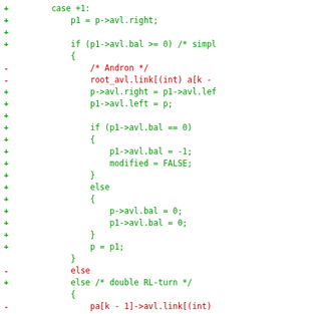[Figure (screenshot): Diff view of C source code showing AVL tree rotation logic. Lines prefixed with '+' are additions (green), lines prefixed with '-' are deletions (red). Code includes case +1 handling, AVL balance checks, simple and double RL-turn rotations.]